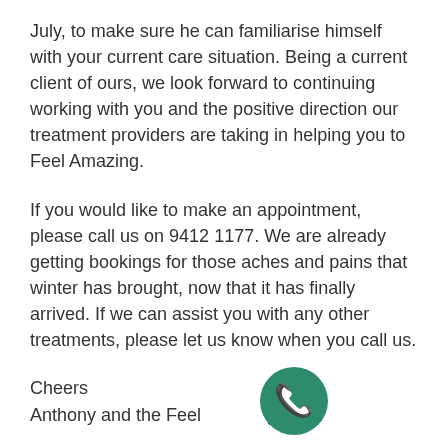July, to make sure he can familiarise himself with your current care situation. Being a current client of ours, we look forward to continuing working with you and the positive direction our treatment providers are taking in helping you to Feel Amazing.
If you would like to make an appointment, please call us on 9412 1177. We are already getting bookings for those aches and pains that winter has brought, now that it has finally arrived. If we can assist you with any other treatments, please let us know when you call us.
Cheers
Anthony and the Feel Amazing team
[Figure (illustration): Green circular phone/call icon with white telephone handset symbol]
PS we are running a competition next week with a